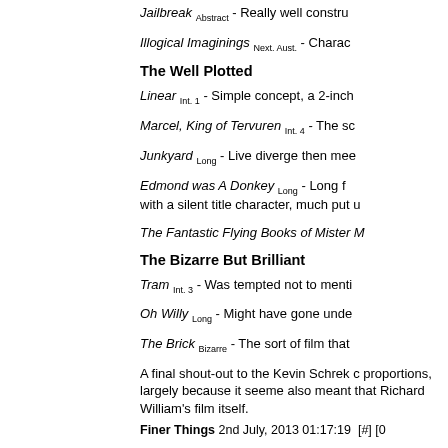Jailbreak Abstract - Really well constru
Illogical Imaginings Next. Aust. - Charac
The Well Plotted
Linear Int. 1 - Simple concept, a 2-inch
Marcel, King of Tervuren Int. 4 - The sc
Junkyard Long - Live diverge then mee
Edmond was A Donkey Long - Long f with a silent title character, much put u
The Fantastic Flying Books of Mister M
The Bizarre But Brilliant
Tram Int. 3 - Was tempted not to menti
Oh Willy Long - Might have gone unde
The Brick Bizarre - The sort of film that
A final shout-out to the Kevin Schrek c proportions, largely because it seeme also meant that Richard William's film itself.
Finer Things 2nd July, 2013 01:17:19  [#] [0
[Figure (other): Orange XML button]